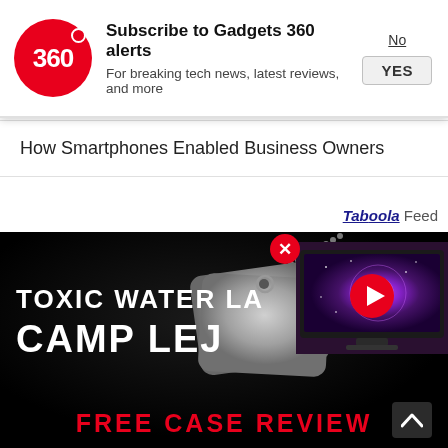[Figure (screenshot): Gadgets 360 subscription notification banner with red circular logo showing '360', bold title 'Subscribe to Gadgets 360 alerts', subtitle 'For breaking tech news, latest reviews, and more', and buttons 'No' and 'YES']
How Smartphones Enabled Business Owners
Taboola Feed
[Figure (screenshot): Dark advertisement image with dog tags on chain, bold white text 'TOXIC WATER LA' and 'CAMP LEJ', red text 'FREE CASE REVIEW' at bottom, overlapping video thumbnail showing a TV with galaxy image and red play button, close X button, and up arrow navigation button]